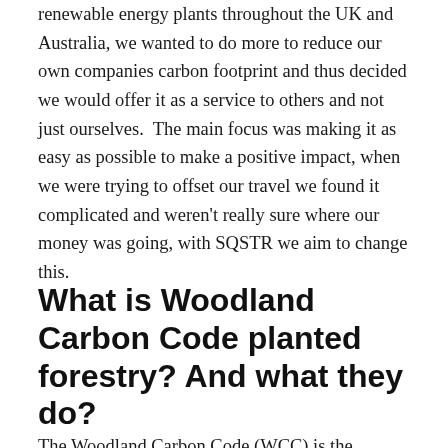renewable energy plants throughout the UK and Australia, we wanted to do more to reduce our own companies carbon footprint and thus decided we would offer it as a service to others and not just ourselves.  The main focus was making it as easy as possible to make a positive impact, when we were trying to offset our travel we found it complicated and weren't really sure where our money was going, with SQSTR we aim to change this.
What is Woodland Carbon Code planted forestry? And what they do?
The Woodland Carbon Code (WCC) is the quality...